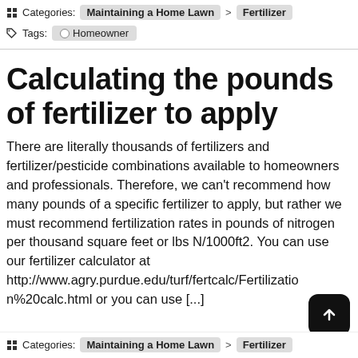Categories: Maintaining a Home Lawn > Fertilizer
Tags: Homeowner
Calculating the pounds of fertilizer to apply
There are literally thousands of fertilizers and fertilizer/pesticide combinations available to homeowners and professionals. Therefore, we can't recommend how many pounds of a specific fertilizer to apply, but rather we must recommend fertilization rates in pounds of nitrogen per thousand square feet or lbs N/1000ft2. You can use our fertilizer calculator at http://www.agry.purdue.edu/turf/fertcalc/Fertilization%20calc.html or you can use [...]
Categories: Maintaining a Home Lawn > Fertilizer